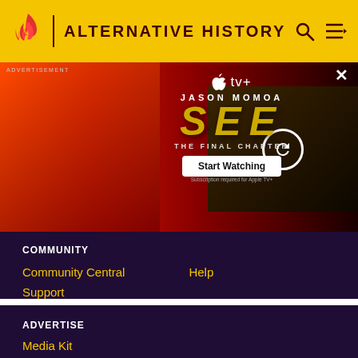ALTERNATIVE HISTORY
[Figure (photo): Apple TV+ advertisement banner for 'SEE: The Final Chapter' featuring Jason Momoa, with a 'Start Watching' button and a video thumbnail with a reload icon]
COMMUNITY
Community Central
Help
Support
ADVERTISE
Media Kit